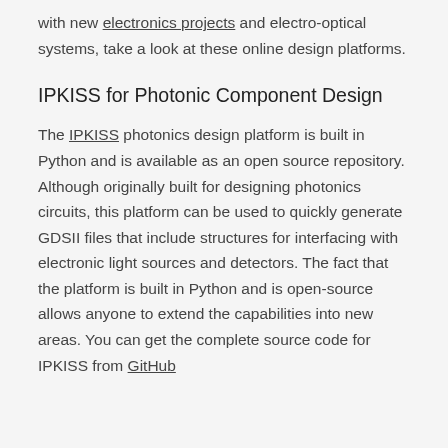with new electronics projects and electro-optical systems, take a look at these online design platforms.
IPKISS for Photonic Component Design
The IPKISS photonics design platform is built in Python and is available as an open source repository. Although originally built for designing photonics circuits, this platform can be used to quickly generate GDSII files that include structures for interfacing with electronic light sources and detectors. The fact that the platform is built in Python and is open-source allows anyone to extend the capabilities into new areas. You can get the complete source code for IPKISS from GitHub